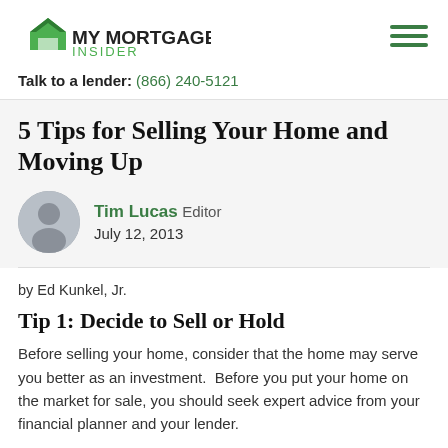MY MORTGAGE INSIDER
Talk to a lender: (866) 240-5121
5 Tips for Selling Your Home and Moving Up
Tim Lucas Editor
July 12, 2013
by Ed Kunkel, Jr.
Tip 1: Decide to Sell or Hold
Before selling your home, consider that the home may serve you better as an investment.  Before you put your home on the market for sale, you should seek expert advice from your financial planner and your lender.